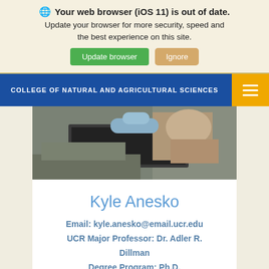Your web browser (iOS 11) is out of date. Update your browser for more security, speed and the best experience on this site.
COLLEGE OF NATURAL AND AGRICULTURAL SCIENCES
[Figure (photo): Lab photo showing person in gloves working with equipment]
Kyle Anesko
Email: kyle.anesko@email.ucr.edu
UCR Major Professor: Dr. Adler R. Dillman
Degree Program: Ph.D.